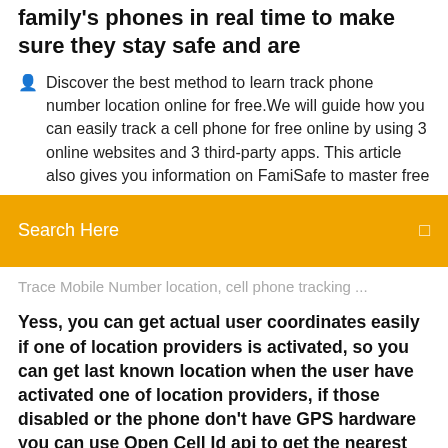family's phones in real time to make sure they stay safe and are
Discover the best method to learn track phone number location online for free. We will guide how you can easily track a cell phone for free online by using 3 online websites and 3 third-party apps. This article also gives you information on FamiSafe to master free
[Figure (screenshot): Orange search bar with text 'Search Here' and a search icon on the right]
Trace Mobile Number location, cell phone tracking ...
Yess, you can get actual user coordinates easily if one of location providers is activated, so you can get last known location when the user have activated one of location providers, if those disabled or the phone don't have GPS hardware you can use Open Cell Id api to get the nearest cell coordinates(10m-10Km) or Loc8 api but those not available in all around the world, and some apps use IP